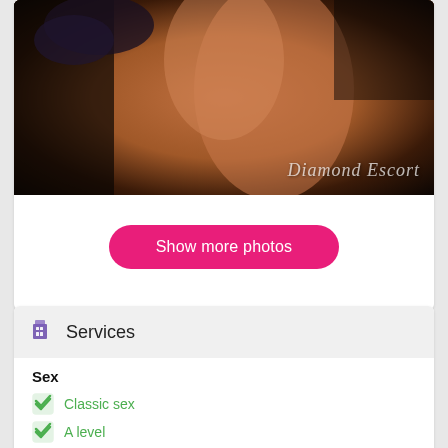[Figure (photo): Dark glamour photo of a woman with text watermark 'Diamond Escort' in script font]
Show more photos
Services
Sex
Classic sex
A level
OWO - oral without condom
Group sex
Double penetration